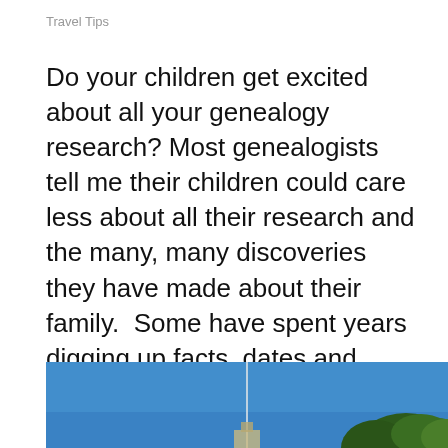Travel Tips
Do your children get excited about all your genealogy research? Most genealogists tell me their children could care less about all their research and the many, many discoveries they have made about their family.  Some have spent years digging up facts, dates and...
[Figure (photo): Partial view of a blue sky with a tall structure (possibly a tower or steeple) and trees visible at the bottom of the image, cropped at the bottom of the page.]